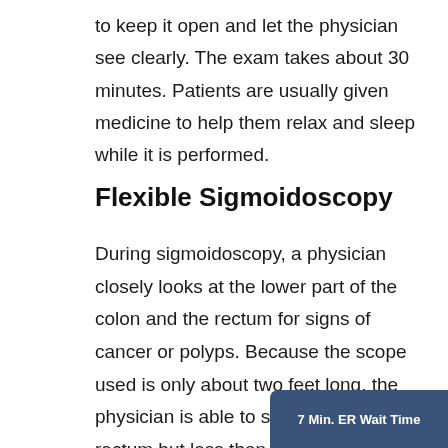to keep it open and let the physician see clearly. The exam takes about 30 minutes. Patients are usually given medicine to help them relax and sleep while it is performed.
Flexible Sigmoidoscopy
During sigmoidoscopy, a physician closely looks at the lower part of the colon and the rectum for signs of cancer or polyps. Because the scope used is only about two feet long, the physician is able to see the entire rectum but less than half of the colon with this exam. The physician uses a thin (about